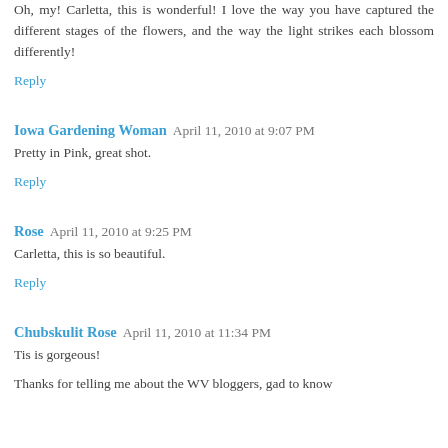Oh, my! Carletta, this is wonderful! I love the way you have captured the different stages of the flowers, and the way the light strikes each blossom differently!
Reply
Iowa Gardening Woman  April 11, 2010 at 9:07 PM
Pretty in Pink, great shot.
Reply
Rose  April 11, 2010 at 9:25 PM
Carletta, this is so beautiful.
Reply
Chubskulit Rose  April 11, 2010 at 11:34 PM
Tis is gorgeous!
Thanks for telling me about the WV bloggers, gad to know